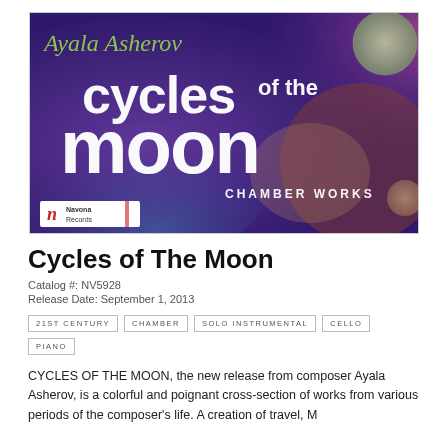[Figure (illustration): Album cover for 'Cycles of The Moon' by Ayala Asherov. Colorful abstract background with purples, pinks, blues and greens. Text reads 'Ayala Asherov' in green handwritten font, 'cycles of the moon' in large white bold font, and 'CHAMBER WORKS' beneath. Navona Records logo in lower left corner.]
Cycles of The Moon
Catalog #: NV5928
Release Date: September 1, 2013
21ST CENTURY   CHAMBER   SOLO INSTRUMENTAL   CELLO   PIANO
CYCLES OF THE MOON, the new release from composer Ayala Asherov, is a colorful and poignant cross-section of works from various periods of the composer's life. A creation of travel, M...